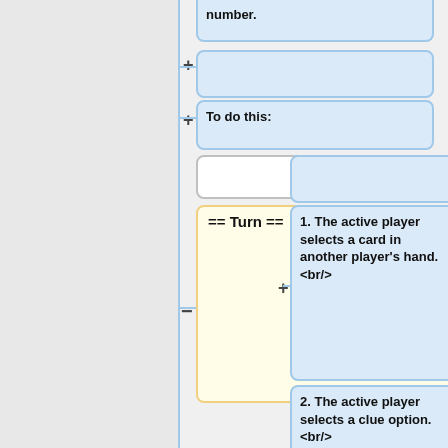[Figure (flowchart): A wiki-style flowchart/outline editor showing a hierarchical structure. On the right side there are several blue rounded-rectangle nodes: one partially visible at top showing 'number.', a blank node, a node saying 'To do this:', a large node reading '1. The active player selects a card in another player's hand. <br/>', a node reading '2. The active player selects a clue option. <br/>', and a node reading '3. One clue token is moved from \'available\' to \'used\'.'. On the left-center area there are white/blank nodes and a yellow node labeled '== Turn =='. The nodes are connected by a vertical blue line on the left with plus and minus expand/collapse controls.]